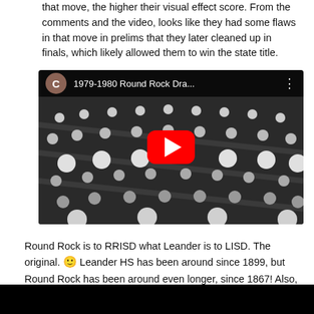that move, the higher their visual effect score. From the comments and the video, looks like they had some flaws in that move in prelims that they later cleaned up in finals, which likely allowed them to win the state title.
[Figure (screenshot): YouTube video thumbnail showing '1979-1980 Round Rock Dra...' with a marching band visible in black and white footage, YouTube play button overlay, channel avatar 'C' in brownish circle.]
Round Rock is to RRISD what Leander is to LISD. The original. 🙂 Leander HS has been around since 1899, but Round Rock has been around even longer, since 1867! Also, RRHS (yes they are also the original RRHS, sorry Reagan 😊) was the largest high school in Central Texas during the 1800s...